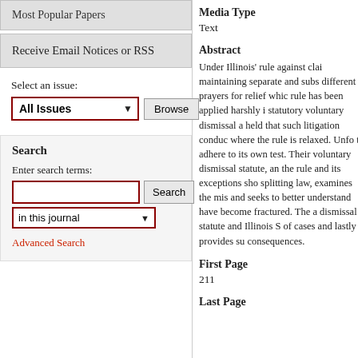Most Popular Papers
Receive Email Notices or RSS
Select an issue:
All Issues
Search
Enter search terms:
in this journal
Advanced Search
Media Type
Text
Abstract
Under Illinois' rule against clai maintaining separate and subs different prayers for relief whic rule has been applied harshly i statutory voluntary dismissal a held that such litigation conduc where the rule is relaxed. Unfo to adhere to its own test. Their voluntary dismissal statute, an the rule and its exceptions sho splitting law, examines the mis and seeks to better understand have become fractured. The a dismissal statute and Illinois S of cases and lastly provides su consequences.
First Page
211
Last Page